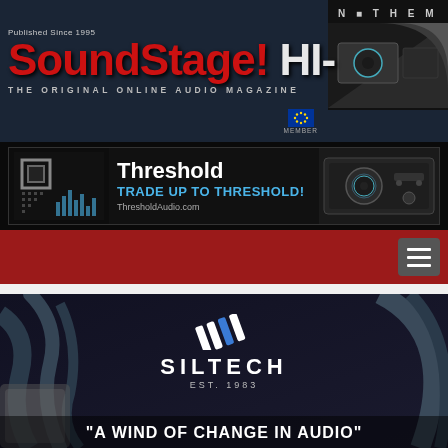[Figure (screenshot): SoundStage! Hi-Fi website header with logo, published since 1995, and Anthem corner advertisement with page curl effect]
[Figure (screenshot): Threshold Audio advertisement banner: Trade Up to Threshold! ThresholdAudio.com]
[Figure (screenshot): Red navigation bar with hamburger menu button]
[Figure (screenshot): Siltech EST. 1983 advertisement with cables photo and headline A WIND OF CHANGE IN AUDIO]